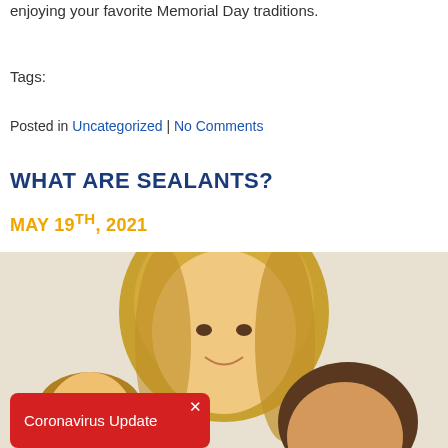enjoying your favorite Memorial Day traditions.
Tags:
Posted in Uncategorized | No Comments
WHAT ARE SEALANTS?
MAY 19TH, 2021
[Figure (photo): Woman with long blonde hair smiling with two children, dental practice blog photo]
Coronavirus Update